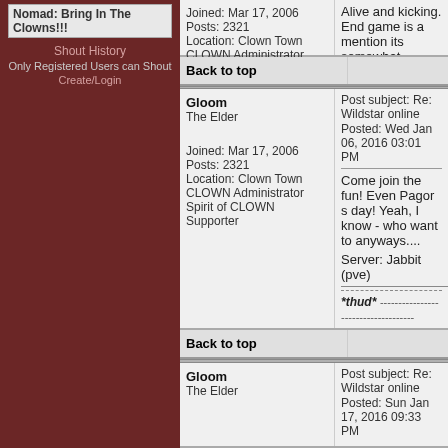Nomad: Bring In The Clowns!!!
Shout History
Only Registered Users can Shout
Create/Login
Alive and kicking. End game is a mention its somewhat different..a
*thud* ------------------------------------
Back to top
Gloom
The Elder
Joined: Mar 17, 2006
Posts: 2321
Location: Clown Town
CLOWN Administrator
Spirit of CLOWN Supporter
Post subject: Re: Wildstar online
Posted: Wed Jan 06, 2016 03:01 PM
Come join the fun! Even Pagor s day! Yeah, I know - who want to anyways....
Server: Jabbit (pve)
*thud* ------------------------------------
Back to top
Gloom
The Elder
Post subject: Re: Wildstar online
Posted: Sun Jan 17, 2016 09:33 PM